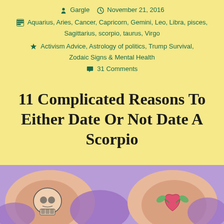Gargle   November 21, 2016
Aquarius, Aries, Cancer, Capricorn, Gemini, Leo, Libra, pisces, Sagittarius, scorpio, taurus, Virgo
Activism Advice, Astrology of politics, Trump Survival, Zodaic Signs & Mental Health
31 Comments
11 Complicated Reasons To Either Date Or Not Date A Scorpio
[Figure (illustration): Illustrated image with purple background showing two cartoon hands/blobs — one holding a skull illustration and one holding a heart/rose illustration, on a light purple/lavender background.]